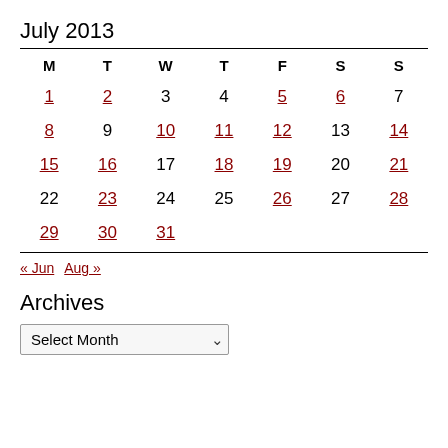July 2013
| M | T | W | T | F | S | S |
| --- | --- | --- | --- | --- | --- | --- |
| 1 | 2 | 3 | 4 | 5 | 6 | 7 |
| 8 | 9 | 10 | 11 | 12 | 13 | 14 |
| 15 | 16 | 17 | 18 | 19 | 20 | 21 |
| 22 | 23 | 24 | 25 | 26 | 27 | 28 |
| 29 | 30 | 31 |  |  |  |  |
« Jun  Aug »
Archives
Select Month